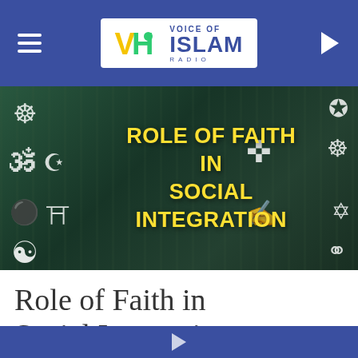[Figure (screenshot): Voice of Islam Radio navigation bar with logo, hamburger menu, and play button on blue background]
[Figure (photo): Hero banner image showing religious symbols on a crowd background with text 'ROLE OF FAITH IN SOCIAL INTEGRATION' in yellow]
Role of Faith in Social Integrations
As a Pakistani Ahmadi Muslim based in South